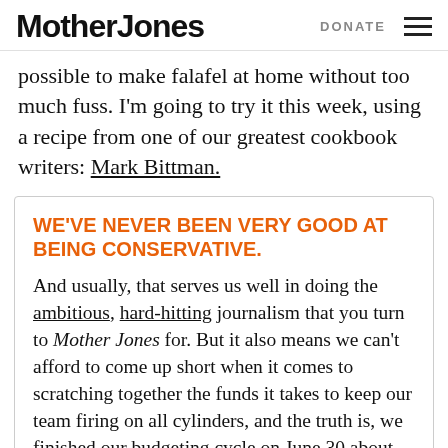Mother Jones | DONATE
possible to make falafel at home without too much fuss. I'm going to try it this week, using a recipe from one of our greatest cookbook writers: Mark Bittman.
WE'VE NEVER BEEN VERY GOOD AT BEING CONSERVATIVE.
And usually, that serves us well in doing the ambitious, hard-hitting journalism that you turn to Mother Jones for. But it also means we can't afford to come up short when it comes to scratching together the funds it takes to keep our team firing on all cylinders, and the truth is, we finished our budgeting cycle on June 30 about $100,000 short of our online goal.